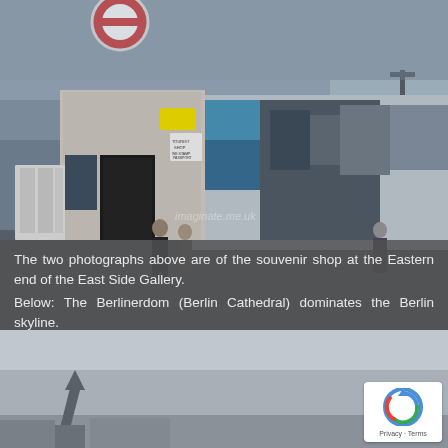[Figure (photo): A photograph of the souvenir shop at the Eastern end of the East Side Gallery in Berlin. The Berlin Wall is visible in the background covered in colorful murals and graffiti. A tourist shop building is on the left with people browsing postcards and merchandise. A sign reads 'TOURIST SHOP, WE STAMP PASSPORT'. The sky is overcast and grey.]
The two photographs above are of the souvenir shop at the Eastern end of the East Side Gallery.
Below: The Berlinerdom (Berlin Cathedral) dominates the Berlin skyline.
[Figure (photo): A photograph of the Berlin skyline with overcast grey sky. The bottom portion of a spire or tower (likely the Berlinerdom / Berlin Cathedral) is visible at the lower left of the image. A reCAPTCHA privacy badge is overlaid in the lower right corner.]